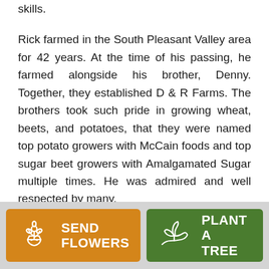skills.
Rick farmed in the South Pleasant Valley area for 42 years. At the time of his passing, he farmed alongside his brother, Denny. Together, they established D & R Farms. The brothers took such pride in growing wheat, beets, and potatoes, that they were named top potato growers with McCain foods and top sugar beet growers with Amalgamated Sugar multiple times. He was admired and well respected by many.
Rick is survived by: his wife, Shonda;
[Figure (other): Send Flowers button (orange) with flower bouquet icon]
[Figure (other): Plant a Tree button (green) with plant/hand icon]